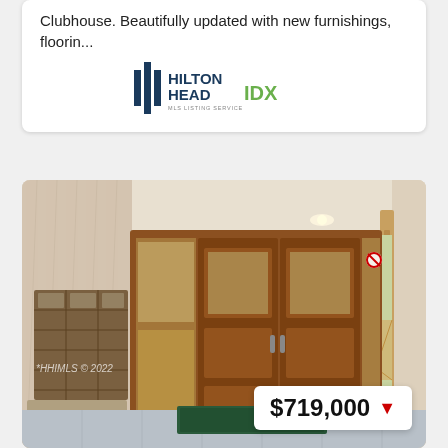Clubhouse. Beautifully updated with new furnishings, floorin...
[Figure (logo): Hilton Head IDX real estate logo with vertical bar icon and text]
[Figure (photo): Interior lobby photo showing wooden double doors with glass panels, mailboxes on the left wall, a green floor mat, and a price badge showing $719,000 with a red down arrow. Watermark reads HHIMLS 2022.]